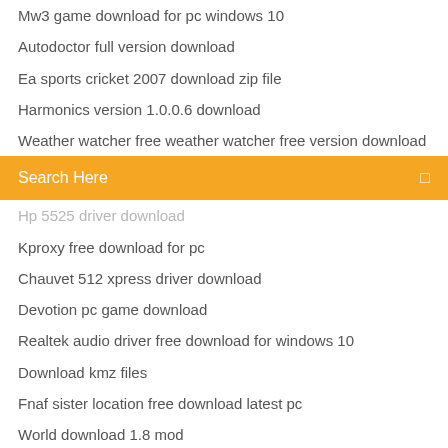Mw3 game download for pc windows 10
Autodoctor full version download
Ea sports cricket 2007 download zip file
Harmonics version 1.0.0.6 download
Weather watcher free weather watcher free version download
Search Here
Hp 5525 driver download
Kproxy free download for pc
Chauvet 512 xpress driver download
Devotion pc game download
Realtek audio driver free download for windows 10
Download kmz files
Fnaf sister location free download latest pc
World download 1.8 mod
Download torrent snis 575
Download google fiber apk
Stokley album torrent download